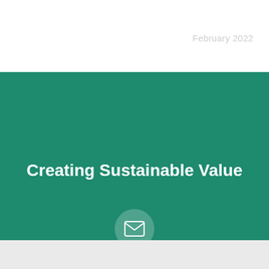February 2022
Creating Sustainable Value
[Figure (illustration): White envelope icon inside a semi-transparent circle on teal background]
JOIN BIRLA CORP TODAY
career@birlacorp.com
Connect with us
[Figure (illustration): Social media icon buttons row at bottom of page]